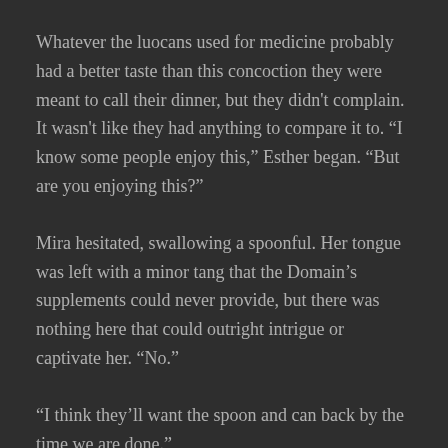Whatever the luocans used for medicine probably had a better taste than this concoction they were meant to call their dinner, but they didn't complain. It wasn't like they had anything to compare it to. “I know some people enjoy this,” Esther began. “But are you enjoying this?”
Mira hesitated, swallowing a spoonful. Her tongue was left with a minor tang that the Domain’s supplements could never provide, but there was nothing here that could outright intrigue or captivate her. “No.”
“I think they’ll want the spoon and can back by the time we are done.”